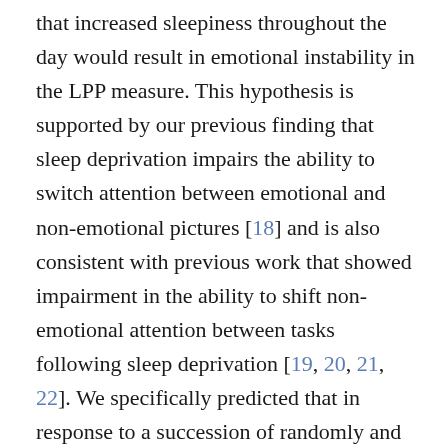that increased sleepiness throughout the day would result in emotional instability in the LPP measure. This hypothesis is supported by our previous finding that sleep deprivation impairs the ability to switch attention between emotional and non-emotional pictures [18] and is also consistent with previous work that showed impairment in the ability to shift non-emotional attention between tasks following sleep deprivation [19, 20, 21, 22]. We specifically predicted that in response to a succession of randomly and rapidly presented emotional and non-emotional pictures, the LPP amplitude to the neutral pictures would be increased and not significantly different from the LPP to the emotional pictures in the evening relative to the morning condition.